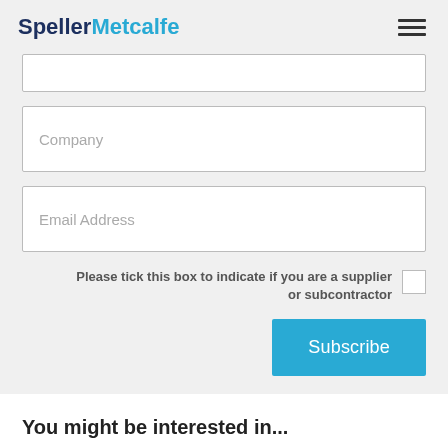SpellerMetcalfe
Company
Email Address
Please tick this box to indicate if you are a supplier or subcontractor
Subscribe
You might be interested in...
[Figure (photo): Landscape aerial or ground-level photo strip showing green fields and trees]